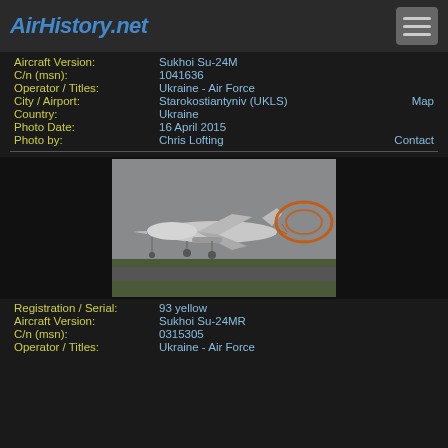AirHistory.net
Aircraft Version: Sukhoi Su-24M
C/n (msn): 1041636
Operator / Titles: Ukraine - Air Force
City / Airport: Starokostiantyniv (UKLS) Map
Country: Ukraine
Photo Date: 16 April 2015
Photo by: Chris Lofting Contact
[Figure (photo): Sukhoi Su-24MR jet aircraft (registration 93 yellow) landing on runway with orange drag chute deployed, overcast sky background]
Registration / Serial: 93 yellow
Aircraft Version: Sukhoi Su-24MR
C/n (msn): 0315305
Operator / Titles: Ukraine - Air Force